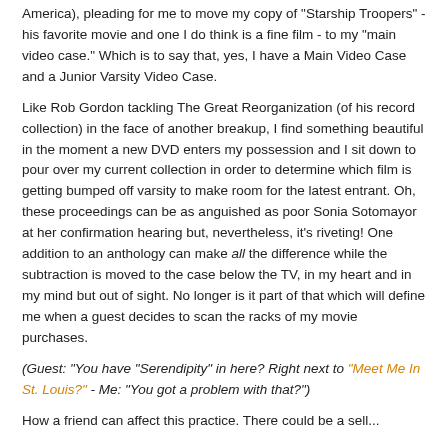America), pleading for me to move my copy of "Starship Troopers" - his favorite movie and one I do think is a fine film - to my "main video case." Which is to say that, yes, I have a Main Video Case and a Junior Varsity Video Case.
Like Rob Gordon tackling The Great Reorganization (of his record collection) in the face of another breakup, I find something beautiful in the moment a new DVD enters my possession and I sit down to pour over my current collection in order to determine which film is getting bumped off varsity to make room for the latest entrant. Oh, these proceedings can be as anguished as poor Sonia Sotomayor at her confirmation hearing but, nevertheless, it's riveting! One addition to an anthology can make all the difference while the subtraction is moved to the case below the TV, in my heart and in my mind but out of sight. No longer is it part of that which will define me when a guest decides to scan the racks of my movie purchases.
(Guest: "You have "Serendipity" in here? Right next to "Meet Me In St. Louis?" - Me: "You got a problem with that?")
How a friend can affect this practice. There could be a sell...